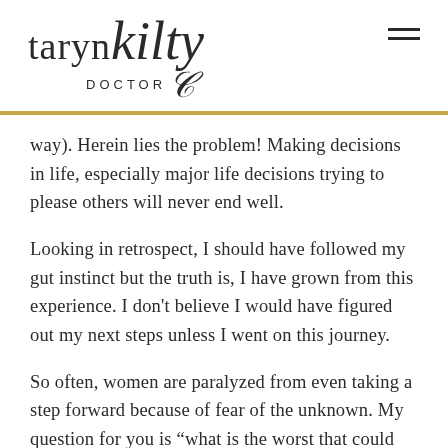taryn kilty DOCTOR
way). Herein lies the problem! Making decisions in life, especially major life decisions trying to please others will never end well.
Looking in retrospect, I should have followed my gut instinct but the truth is, I have grown from this experience. I don't believe I would have figured out my next steps unless I went on this journey.
So often, women are paralyzed from even taking a step forward because of fear of the unknown. My question for you is “what is the worst that could happen?” If your heart is pulling you in a certain direction, go there